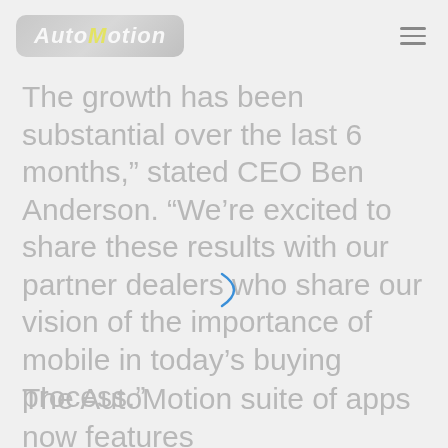AutoMotion
The growth has been substantial over the last 6 months,” stated CEO Ben Anderson. “We’re excited to share these results with our partner dealers who share our vision of the importance of mobile in today’s buying process.”
The AutoMotion suite of apps now features